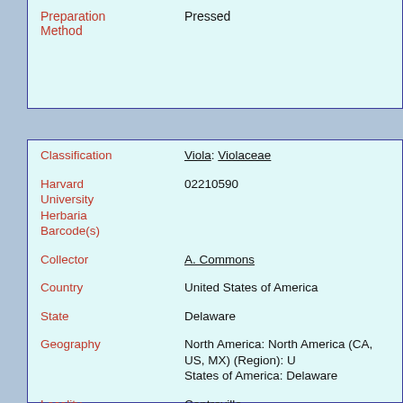| Field | Value |
| --- | --- |
| Preparation Method | Pressed |
| Classification | Viola: Violaceae |
| Harvard University Herbaria Barcode(s) | 02210590 |
| Collector | A. Commons |
| Country | United States of America |
| State | Delaware |
| Geography | North America: North America (CA, US, MX) (Region): United States of America: Delaware |
| Locality | Centreville |
| Date Collected | 1886 |
| Project | US and Canada - Mass Digitization |
| GUID | http://purl.oclc.org/net/edu.harvard.huh/guid/uuid/6b8...9ea2-40c7-8d01-c30dfc200f5a |
| Harvard | 02210590 |